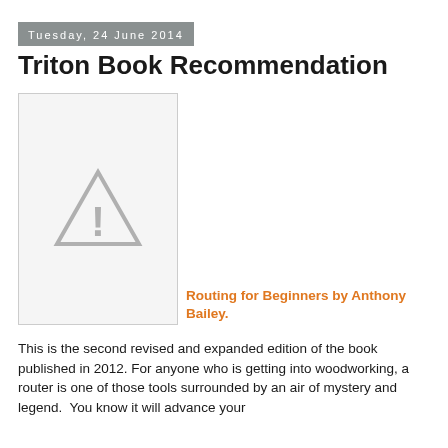Tuesday, 24 June 2014
Triton Book Recommendation
[Figure (illustration): Book cover placeholder image showing a warning/caution triangle icon with exclamation mark on a light grey background with border]
Routing for Beginners by Anthony Bailey.
This is the second revised and expanded edition of the book published in 2012. For anyone who is getting into woodworking, a router is one of those tools surrounded by an air of mystery and legend.  You know it will advance your